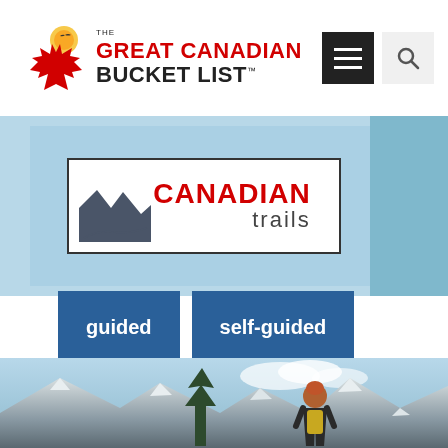[Figure (logo): The Great Canadian Bucket List logo with red maple leaf and bird, red and black text]
[Figure (logo): Canadian Trails logo with hiker silhouette, red CANADIAN text and grey trails text, with white bordered box on blue sky background]
guided
self-guided
[Figure (photo): Person with yellow backpack and orange hat looking at snowy mountain peaks and pine tree landscape]